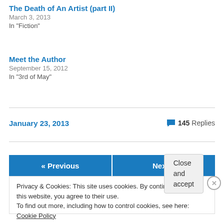The Death of An Artist (part II)
March 3, 2013
In "Fiction"
Meet the Author
September 15, 2012
In "3rd of May"
January 23, 2013
145 Replies
« Previous
Next »
Privacy & Cookies: This site uses cookies. By continuing to use this website, you agree to their use.
To find out more, including how to control cookies, see here: Cookie Policy
Close and accept